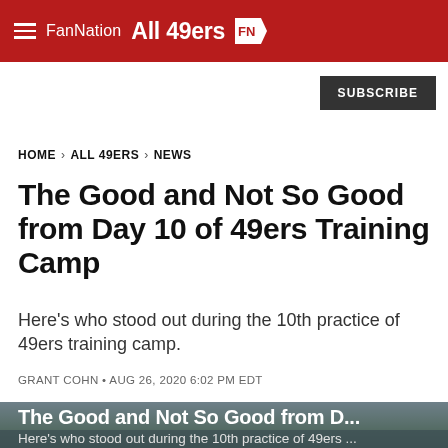FanNation — All 49ers
SUBSCRIBE
HOME > ALL 49ERS > NEWS
The Good and Not So Good from Day 10 of 49ers Training Camp
Here's who stood out during the 10th practice of 49ers training camp.
GRANT COHN • AUG 26, 2020 6:02 PM EDT
[Figure (photo): Background image of 49ers facility with trees and buildings, overlaid with truncated article title 'The Good and Not So Good from D...' and subtitle 'Here's who stood out during the 10th practice of 49ers ...']